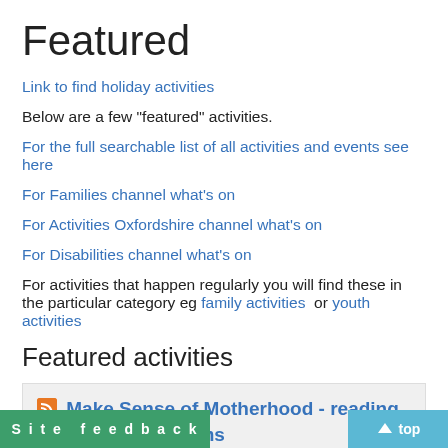Featured
Link to find holiday activities
Below are a few "featured" activities.
For the full searchable list of all activities and events see here
For Families channel what's on
For Activities Oxfordshire channel what's on
For Disabilities channel what's on
For activities that happen regularly you will find these in the particular category eg family activities or youth activities
Featured activities
Make Sense of Motherhood - reading group for new mums
* Through reading, discussion and reflection, explore your journey
* Extracts from a range of texts about
provided. No need to read in advance! *
Site feedback
top